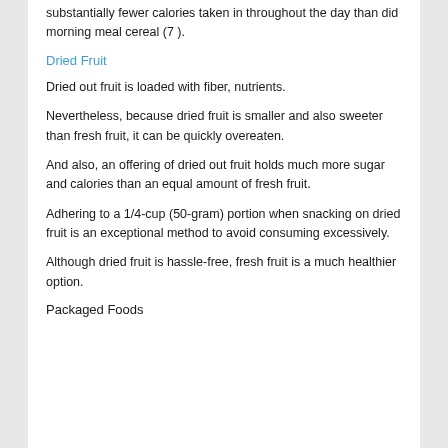substantially fewer calories taken in throughout the day than did morning meal cereal (7 ).
Dried Fruit
Dried out fruit is loaded with fiber, nutrients.
Nevertheless, because dried fruit is smaller and also sweeter than fresh fruit, it can be quickly overeaten.
And also, an offering of dried out fruit holds much more sugar and calories than an equal amount of fresh fruit.
Adhering to a 1/4-cup (50-gram) portion when snacking on dried fruit is an exceptional method to avoid consuming excessively.
Although dried fruit is hassle-free, fresh fruit is a much healthier option.
Packaged Foods